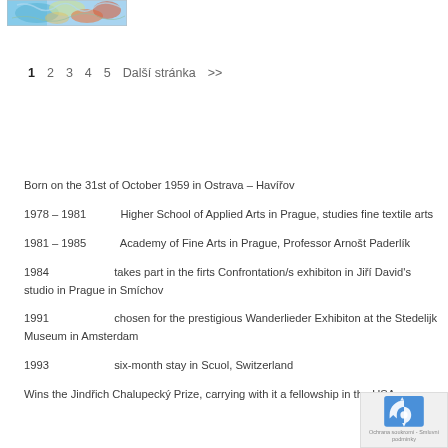[Figure (illustration): Colorful artwork image at top left, appears to be a painting with blue, green, orange, and red tones]
1  2  3  4  5  Další stránka  >>
Born on the 31st of October 1959 in Ostrava – Havířov
1978 – 1981	Higher School of Applied Arts in Prague, studies fine textile arts
1981 – 1985	Academy of Fine Arts in Prague, Professor Arnošt Paderlík
1984		takes part in the firts Confrontation/s exhibiton in Jiří David's studio in Prague in Smíchov
1991		chosen for the prestigious Wanderlieder Exhibiton at the Stedelijk Museum in Amsterdam
1993		six-month stay in Scuol, Switzerland
Wins the Jindřich Chalupecký Prize, carrying with it a fellow in the USA